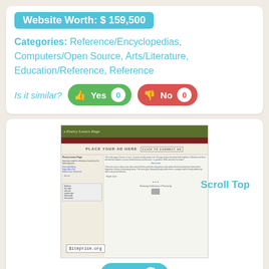Website Worth: $ 159,500
Categories: Reference/Encyclopedias, Computers/Open Source, Arts/Literature, Education/Reference, Reference
Is it similar? Yes 0  No 0
[Figure (screenshot): Screenshot of Poetry Lovers Page website with header, navigation, ad bar, sidebar and main content area. Shows 'Scroll Top' label on the right side.]
Like 0